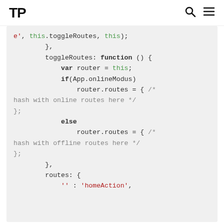TP  🔍 ☰
e', this.toggleRoutes, this);
        },
        toggleRoutes: function () {
            var router = this;
            if(App.onlineModus)
                router.routes = { /* hash with online routes here */
};
            else
                router.routes = { /* hash with offline routes here */
};
        },
        routes: {
            '' : 'homeAction',